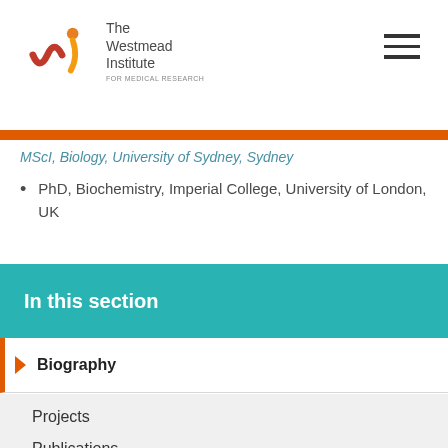The Westmead Institute FOR MEDICAL RESEARCH
MScI, Biology, University of Sydney, Sydney
PhD, Biochemistry, Imperial College, University of London, UK
In this section
Biography
Projects
Publications
Funding & Collaborations
News & Videos